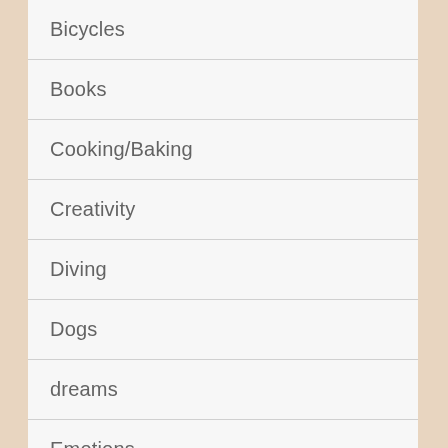Bicycles
Books
Cooking/Baking
Creativity
Diving
Dogs
dreams
Emotions
Exercise